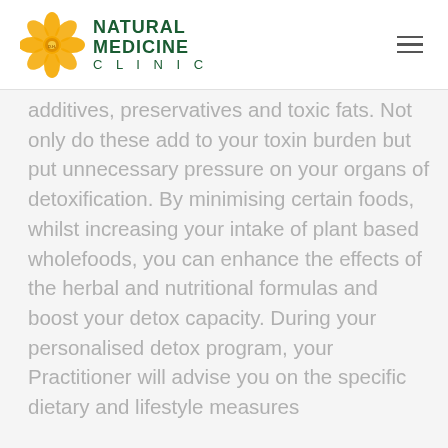Natural Medicine Clinic
additives, preservatives and toxic fats. Not only do these add to your toxin burden but put unnecessary pressure on your organs of detoxification. By minimising certain foods, whilst increasing your intake of plant based wholefoods, you can enhance the effects of the herbal and nutritional formulas and boost your detox capacity. During your personalised detox program, your Practitioner will advise you on the specific dietary and lifestyle measures